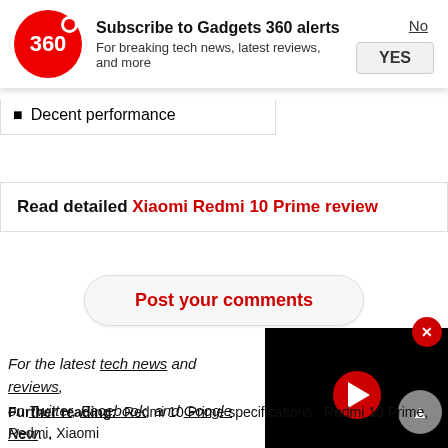[Figure (infographic): Gadgets 360 subscription notification banner with red circular logo showing '360', title 'Subscribe to Gadgets 360 alerts', subtitle 'For breaking tech news, latest reviews, and more', and No/YES buttons]
Decent performance
Read detailed Xiaomi Redmi 10 Prime review
Post your comments
[Figure (screenshot): Black video player with red play button circle]
For the latest tech news and reviews, on Twitter, Facebook, and Google News, videos on gadgets and tech, subscribe channel.
Further reading: Redmi 10 Prime specifications, Redmi 10 Prime, Redmi, Xiaomi